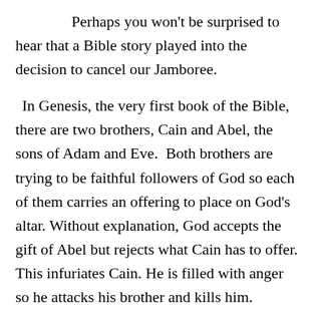Perhaps you won't be surprised to hear that a Bible story played into the decision to cancel our Jamboree.
In Genesis, the very first book of the Bible, there are two brothers, Cain and Abel, the sons of Adam and Eve. Both brothers are trying to be faithful followers of God so each of them carries an offering to place on God's altar. Without explanation, God accepts the gift of Abel but rejects what Cain has to offer. This infuriates Cain. He is filled with anger so he attacks his brother and kills him.
When God comes looking for the brothers and can only find one, God turns to Cain and wonder about